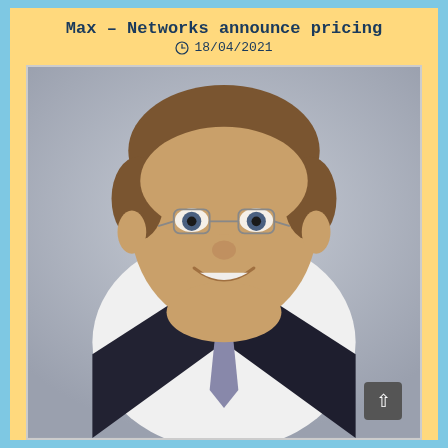Max – Networks announce pricing
18/04/2021
[Figure (photo): Portrait photo of a middle-aged man with glasses, short brown hair, wearing a dark suit jacket and tie, smiling against a grey background]